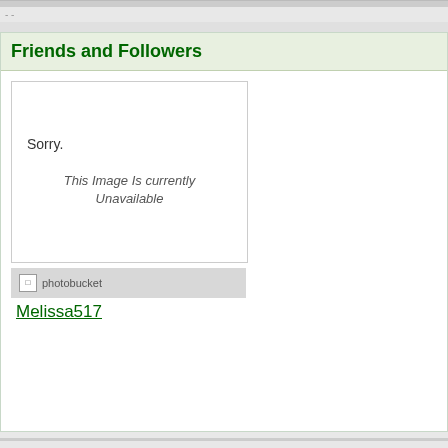Friends and Followers
[Figure (illustration): Photobucket placeholder image showing 'Sorry. This Image Is currently Unavailable' with photobucket branding bar]
Melissa517
GreenKeet
show/hide columns on this page
Forum Rules · Mark All Read    Contact Us · Lisa Shea